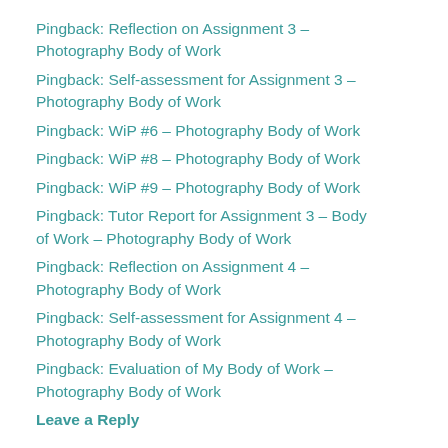Pingback: Reflection on Assignment 3 – Photography Body of Work
Pingback: Self-assessment for Assignment 3 – Photography Body of Work
Pingback: WiP #6 – Photography Body of Work
Pingback: WiP #8 – Photography Body of Work
Pingback: WiP #9 – Photography Body of Work
Pingback: Tutor Report for Assignment 3 – Body of Work – Photography Body of Work
Pingback: Reflection on Assignment 4 – Photography Body of Work
Pingback: Self-assessment for Assignment 4 – Photography Body of Work
Pingback: Evaluation of My Body of Work – Photography Body of Work
Leave a Reply